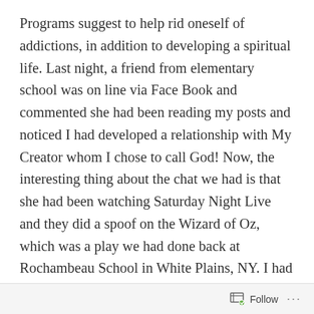Programs suggest to help rid oneself of addictions, in addition to developing a spiritual life. Last night, a friend from elementary school was on line via Face Book and commented she had been reading my posts and noticed I had developed a relationship with My Creator whom I chose to call God! Now, the interesting thing about the chat we had is that she had been watching Saturday Night Live and they did a spoof on the Wizard of Oz, which was a play we had done back at Rochambeau School in White Plains, NY. I had the role of the Tin Man and, needless to say, sang and danced and acted my heart out as a little boy! I remember they even spray painted me and my costume silver!!! So, Wendi saw the SNL spoof and said she immediately thought of me … being the Tin Man back in elementary school days! Wow! What an honor to have a
Follow ···